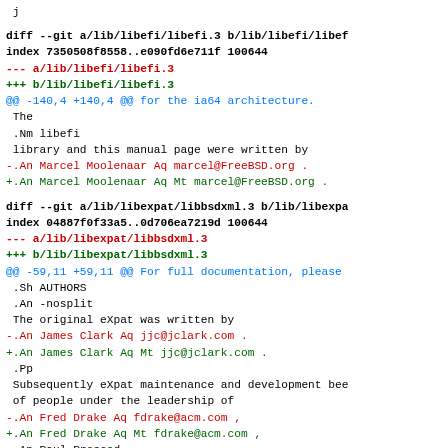j
diff --git a/lib/libefi/libefi.3 b/lib/libefi/libefi.3
index 7350508f8558..e090fd6e711f 100644
--- a/lib/libefi/libefi.3
+++ b/lib/libefi/libefi.3
@@ -140,4 +140,4 @@ for the ia64 architecture.
  The
  .Nm libefi
  library and this manual page were written by
 -.An Marcel Moolenaar Aq marcel@FreeBSD.org .
 +.An Marcel Moolenaar Aq Mt marcel@FreeBSD.org .
diff --git a/lib/libexpat/libbsdxml.3 b/lib/libexpat/libbsdxml.3
index 04887f0f33a5..0d706ea7219d 100644
--- a/lib/libexpat/libbsdxml.3
+++ b/lib/libexpat/libbsdxml.3
@@ -59,11 +59,11 @@ For full documentation, please
  .Sh AUTHORS
  .An -nosplit
  The original eXpat was written by
 -.An James Clark Aq jjc@jclark.com .
 +.An James Clark Aq Mt jjc@jclark.com .
  .Pp
  Subsequently eXpat maintenance and development bee
  of people under the leadership of
 -.An Fred Drake Aq fdrake@acm.com ,
 +.An Fred Drake Aq Mt fdrake@acm.com ,
  .An Paul Prescod ,
  and